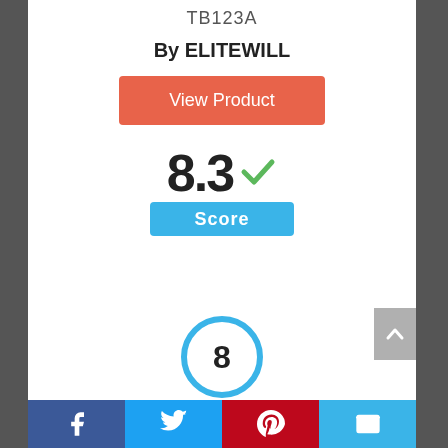TB123A
By ELITEWILL
View Product
8.3 Score
[Figure (infographic): Blue circle with number 8 inside]
Facebook | Twitter | Pinterest | Email